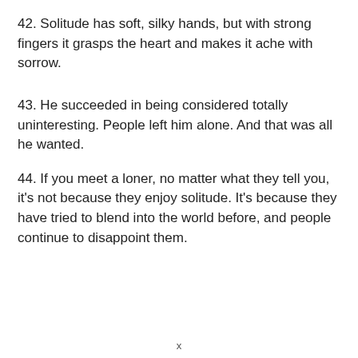42. Solitude has soft, silky hands, but with strong fingers it grasps the heart and makes it ache with sorrow.
43. He succeeded in being considered totally uninteresting. People left him alone. And that was all he wanted.
44. If you meet a loner, no matter what they tell you, it's not because they enjoy solitude. It's because they have tried to blend into the world before, and people continue to disappoint them.
x